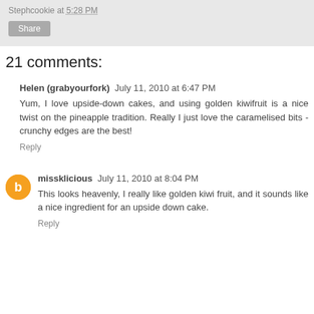Stephcookie at 5:28 PM
Share
21 comments:
Helen (grabyourfork) July 11, 2010 at 6:47 PM
Yum, I love upside-down cakes, and using golden kiwifruit is a nice twist on the pineapple tradition. Really I just love the caramelised bits - crunchy edges are the best!
Reply
missklicious July 11, 2010 at 8:04 PM
This looks heavenly, I really like golden kiwi fruit, and it sounds like a nice ingredient for an upside down cake.
Reply